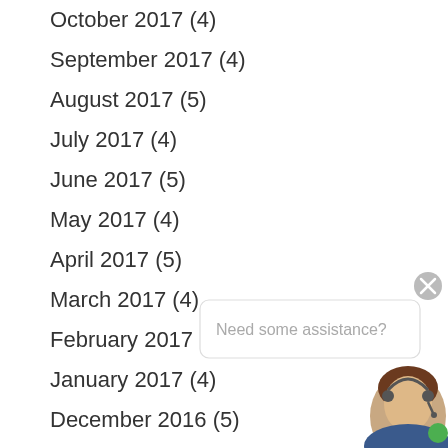October 2017 (4)
September 2017 (4)
August 2017 (5)
July 2017 (4)
June 2017 (5)
May 2017 (4)
April 2017 (5)
March 2017 (4)
February 2017 (4)
January 2017 (4)
December 2016 (5)
November 2016 (4)
October 2016 (4)
September 2016 (4)
August 2016 (5)
[Figure (illustration): Chat widget with 'Need some assistance?' bubble and customer service avatar with green online indicator dot]